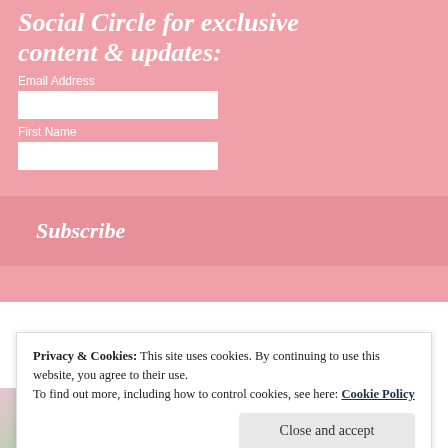Social Circle for exclusive content & updates:
Email Address
First Name
Subscribe
Privacy & Cookies: This site uses cookies. By continuing to use this website, you agree to their use. To find out more, including how to control cookies, see here: Cookie Policy
Close and accept